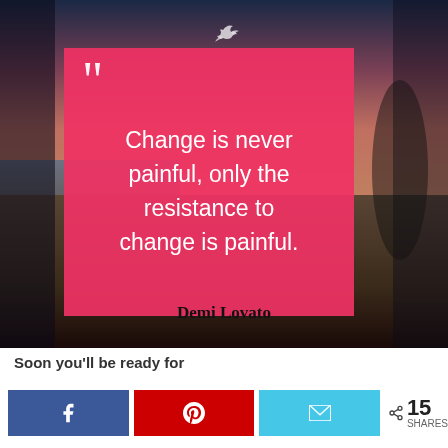[Figure (photo): Beach scene at sunset with pink/orange sky and dark rocky shore, person silhouette in background on right. A large hot-pink semi-transparent quote box overlaid in center with white quote text. A small dove icon appears at the top center. Author name 'Demi Lovato' appears below the box.]
Soon you'll be ready for
f  p  ✉  < 15 SHARES